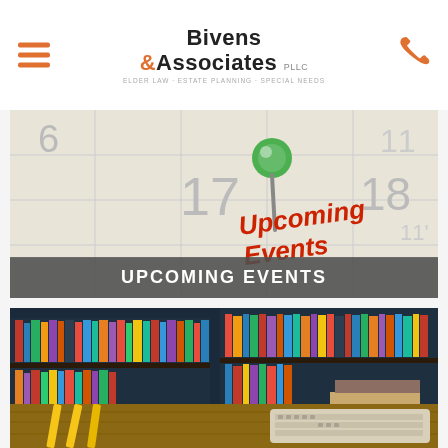Bivens & Associates PLLC — Elder Law, Estate Planning, Special Needs
[Figure (photo): Calendar with a green pushpin on day 17, with handwritten text 'Upcoming Events' in red, with large grey numbers 6, 11, 17, 18 visible on calendar grid]
UPCOMING EVENTS
[Figure (photo): Library interior with bookshelves filled with colorful books, an open book and stacked books on a wooden table, warm lighting]
NEWS & PUBLICATIONS
[Figure (photo): Partial view of a wooden surface with yellow pencils and a keyboard visible at the bottom of the page]